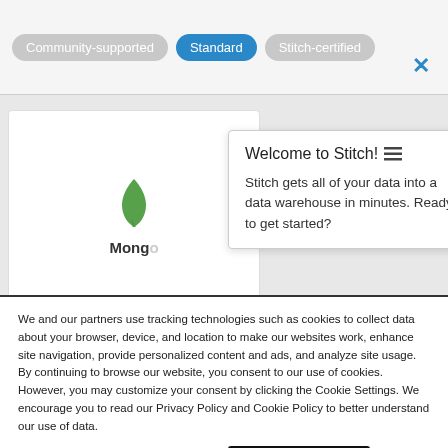[Figure (screenshot): Filter bar with Community-supported, Standard (highlighted blue), and Stitch-certified pill buttons, and a blue X close icon]
[Figure (screenshot): MongoDB card partially visible with green leaf logo and 'MongoDB' label truncated]
[Figure (screenshot): Welcome to Stitch tooltip popup with hamburger menu icon and description text]
We and our partners use tracking technologies such as cookies to collect data about your browser, device, and location to make our websites work, enhance site navigation, provide personalized content and ads, and analyze site usage. By continuing to browse our website, you consent to our use of cookies. However, you may customize your consent by clicking the Cookie Settings. We encourage you to read our Privacy Policy and Cookie Policy to better understand our use of data.
Cookie Settings
Accept Cookies